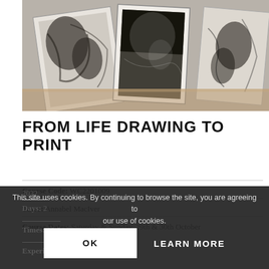[Figure (photo): Black and white charcoal or monoprint life drawings on paper, displayed overlapping on a wooden surface]
FROM LIFE DRAWING TO PRINT
Course Code: WC2201009
Tutor: Annabel MacIver
Course Dates: Saturday & Sunday, 29th & 30th October 2022
Days: 2
Times: 10.0...
Experience Level: All levels
This site uses cookies. By continuing to browse the site, you are agreeing to our use of cookies.